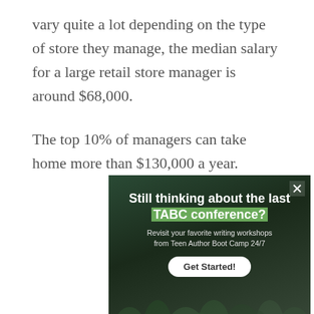vary quite a lot depending on the type of store they manage, the median salary for a large retail store manager is around $68,000.
The top 10% of managers can take home more than $130,000 a year.
[Figure (screenshot): Advertisement for TABC (Teen Author Boot Camp) conference: dark green background with crowd of people, text 'Still thinking about the last TABC conference? Revisit your favorite writing workshops from Teen Author Boot Camp 24/7' with a 'Get Started!' button. Has a CLOSE bar at bottom right.]
[Figure (screenshot): Bloomingdale's advertisement banner: logo 'bloomingdales', text 'View Today's Top Deals!', image of woman with hat, and 'SHOP NOW >' button.]